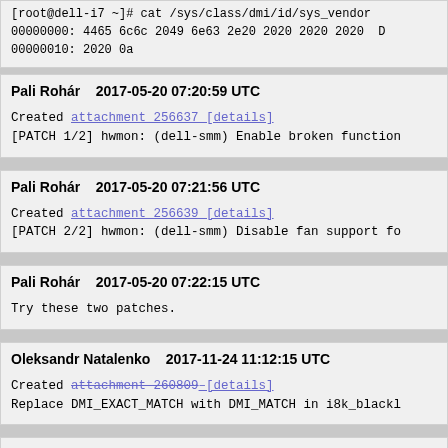[root@dell-i7 ~]# cat /sys/class/dmi/id/sys_vendor
00000000: 4465 6c6c 2049 6e63 2e20 2020 2020 2020  D
00000010: 2020 0a
Pali Rohár    2017-05-20 07:20:59 UTC

Created attachment 256637 [details]
[PATCH 1/2] hwmon: (dell-smm) Enable broken function
Pali Rohár    2017-05-20 07:21:56 UTC

Created attachment 256639 [details]
[PATCH 2/2] hwmon: (dell-smm) Disable fan support fo
Pali Rohár    2017-05-20 07:22:15 UTC

Try these two patches.
Oleksandr Natalenko    2017-11-24 11:12:15 UTC

Created attachment 260809 [details]
Replace DMI_EXACT_MATCH with DMI_MATCH in i8k_blackl
Oleksandr Natalenko    2017-11-24 11:12:42 UTC